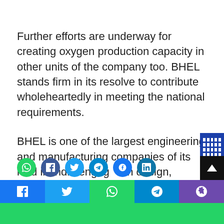Further efforts are underway for creating oxygen production capacity in other units of the company too. BHEL stands firm in its resolve to contribute wholeheartedly in meeting the national requirements.
BHEL is one of the largest engineering and manufacturing companies of its kind in India engaged in design, engineering, construction, testing, commissioning and servicing of a wide range of products and services with over 180 product offerings to meet the ever-growing needs of the core sectors of economy.
[Figure (other): Social media sharing widget bar on right side (blue background with white grid cells) and scroll-to-top button (black with white arrow). Bottom section shows circular social share icons and a social share strip with Facebook, Twitter, WhatsApp, Telegram, and Viber buttons.]